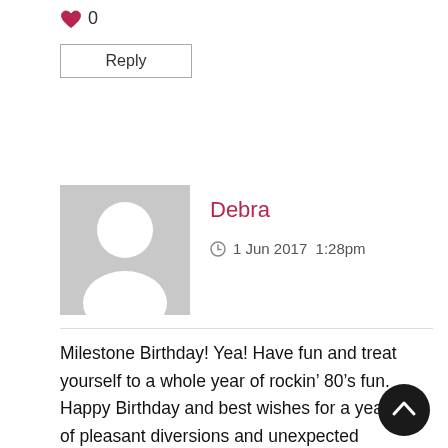[Figure (illustration): Heart like icon with count 0]
0
Reply
[Figure (illustration): Default grey avatar placeholder with silhouette of person]
Debra
1 Jun 2017  1:28pm
Milestone Birthday! Yea! Have fun and treat yourself to a whole year of rockin' 80's fun. Happy Birthday and best wishes for a year full of pleasant diversions and unexpected merrymaking!
[Figure (illustration): Heart like icon with count 0]
0
Reply
[Figure (illustration): Dark circular scroll-to-top button with upward chevron]